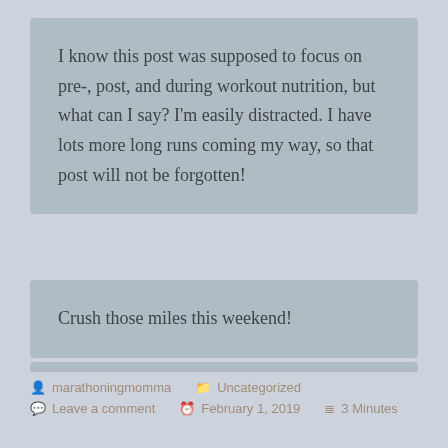I know this post was supposed to focus on pre-, post, and during workout nutrition, but what can I say? I'm easily distracted. I have lots more long runs coming my way, so that post will not be forgotten!
Crush those miles this weekend!
-S
marathoningmomma   Uncategorized   Leave a comment   February 1, 2019   3 Minutes